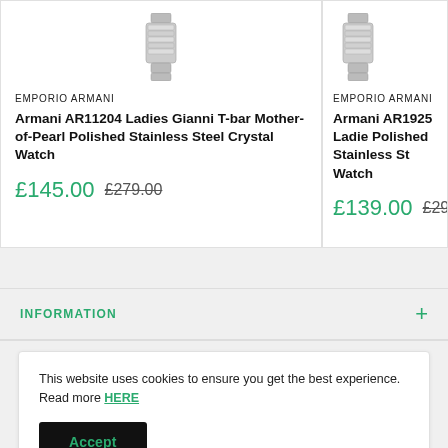EMPORIO ARMANI
Armani AR11204 Ladies Gianni T-bar Mother-of-Pearl Polished Stainless Steel Crystal Watch
£145.00  £279.00
EMPORIO ARMANI
Armani AR1925 Ladies Polished Stainless St... Watch
£139.00  £299.00
INFORMATION
This website uses cookies to ensure you get the best experience. Read more HERE
Accept